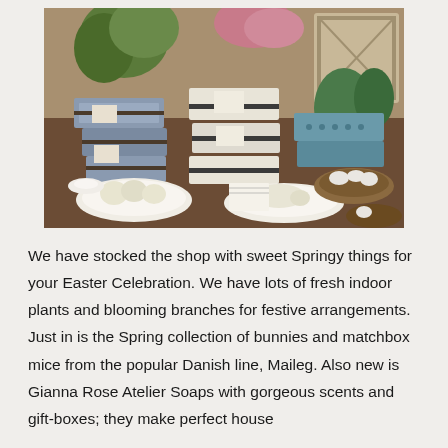[Figure (photo): A shop display table with decorative spring items: stacked gift boxes in blue, cream/white, and teal colors with bird motifs and ribbon ties, small white soap sculptures of chicks and birds on plates, bird nests with eggs, and flowering plants in the background.]
We have stocked the shop with sweet Springy things for your Easter Celebration. We have lots of fresh indoor plants and blooming branches for festive arrangements. Just in is the Spring collection of bunnies and matchbox mice from the popular Danish line, Maileg. Also new is Gianna Rose Atelier Soaps with gorgeous scents and gift-boxes; they make perfect house